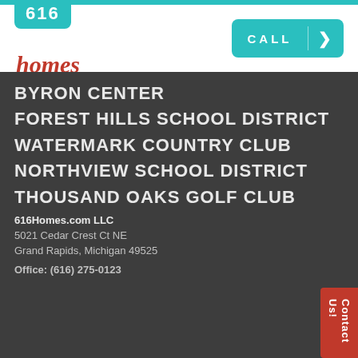616 homes — CALL
BYRON CENTER
FOREST HILLS SCHOOL DISTRICT
WATERMARK COUNTRY CLUB
NORTHVIEW SCHOOL DISTRICT
THOUSAND OAKS GOLF CLUB
616Homes.com LLC
5021 Cedar Crest Ct NE
Grand Rapids, Michigan 49525

Office: (616) 275-0123